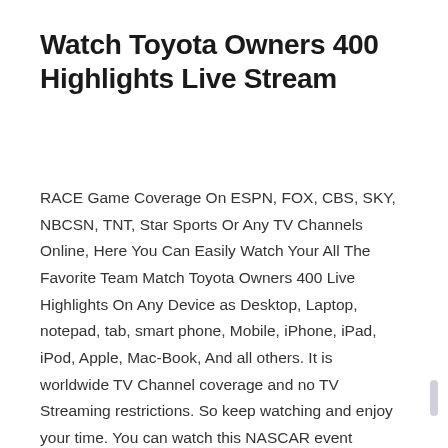Watch Toyota Owners 400 Highlights Live Stream
RACE Game Coverage On ESPN, FOX, CBS, SKY, NBCSN, TNT, Star Sports Or Any TV Channels Online, Here You Can Easily Watch Your All The Favorite Team Match Toyota Owners 400 Live Highlights On Any Device as Desktop, Laptop, notepad, tab, smart phone, Mobile, iPhone, iPad, iPod, Apple, Mac-Book, And all others. It is worldwide TV Channel coverage and no TV Streaming restrictions. So keep watching and enjoy your time. You can watch this NASCAR event highlights live stream on all TV Channel Toyota Owners 400 RACE Live. ESPN, ESPN3, SONY SIX, FOX SPORTS, STAR SPORTS, HBO, ABC, NBC, ESPN2 any